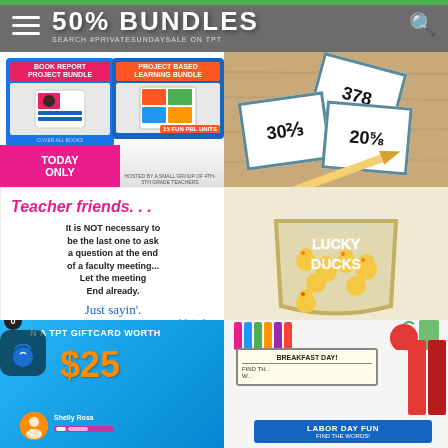50% BUNDLES — SEARCH #PRIVATESUNDAYSALE ON TPT
[Figure (photo): Book Report Project Bundle and Project Based Learning Bundle advertisement with today only pink banner]
[Figure (photo): Math number cards with numbers 378, 308, 308 on wood background with pencil]
[Figure (illustration): Teacher friends quote - It is NOT necessary to be the last one to ask a question at the end of a faculty meeting... Let the meeting End already. Just sayin'.]
[Figure (photo): Glass filled with rubber ducks labeled LUCKY DUCKS]
[Figure (photo): Win a TPT giftcard worth $25 promotional image with profile card]
[Figure (photo): Breakfast Day and Labor Day Fun word search activity cards with school supplies]